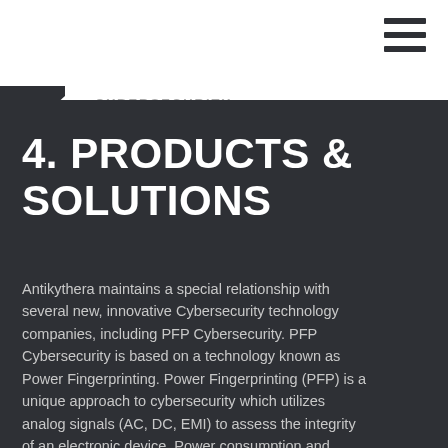CYBERSECURITY
4. PRODUCTS & SOLUTIONS
Antikythera maintains a special relationship with several new, innovative Cybersecurity technology companies, including PFP Cybersecurity. PFP Cybersecurity is based on a technology known as Power Fingerprinting. Power Fingerprinting (PFP) is a unique approach to cybersecurity which utilizes analog signals (AC, DC, EMI) to assess the integrity of an electronic device. Power consumption and electromagnetic emissions uniquely identify any given hardware/firmware combination. By learning these power fingerprints, PFP detects whenever unauthorized modifications have compromised the